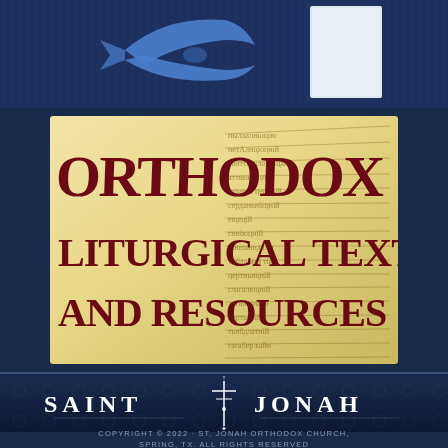[Figure (logo): Top section with dark blue background, stylized fish/wave logo and white rectangle placeholder]
[Figure (illustration): Orthodox Liturgical Texts and Resources banner image with medieval manuscript background and ornate dark red Gothic text]
[Figure (logo): Saint Jonah Orthodox Church logo with decorative cross in white on dark navy background]
COPYRIGHT © 2022 · ST. JONAH ORTHODOX CHURCH, SPRING, TX. ALL RIGHTS RESERVED